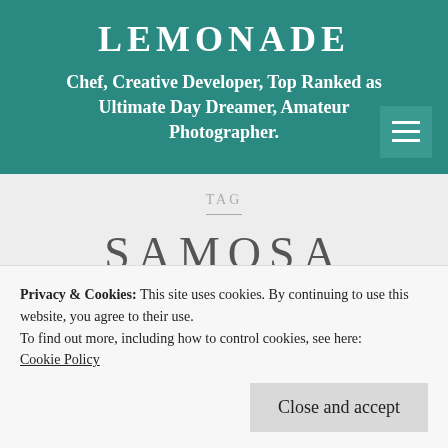LEMONADE
Chef, Creative Developer, Top Ranked as Ultimate Day Dreamer, Amateur Photographer.
TAG
SAMOSA
Privacy & Cookies: This site uses cookies. By continuing to use this website, you agree to their use.
To find out more, including how to control cookies, see here: Cookie Policy
Close and accept
Chicken Samosas